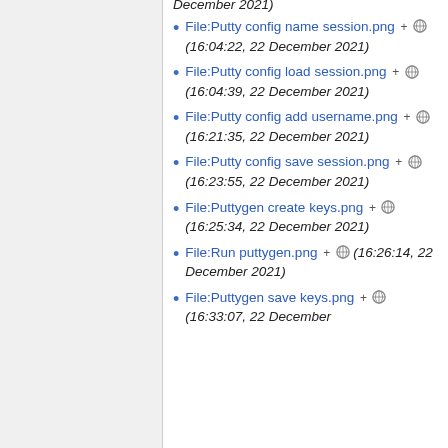File:Putty config name session.png + ⊕ (16:04:22, 22 December 2021)
File:Putty config load session.png + ⊕ (16:04:39, 22 December 2021)
File:Putty config add username.png + ⊕ (16:21:35, 22 December 2021)
File:Putty config save session.png + ⊕ (16:23:55, 22 December 2021)
File:Puttygen create keys.png + ⊕ (16:25:34, 22 December 2021)
File:Run puttygen.png + ⊕ (16:26:14, 22 December 2021)
File:Puttygen save keys.png + ⊕ (16:33:07, 22 December